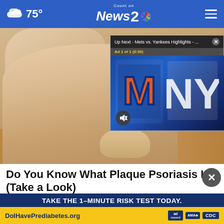75° | Count on News 2 NBC
[Figure (screenshot): Screenshot of a news website (WKRN News 2) showing a foot/ankle medical image with a video popup overlay for 'Up Next - Mets vs. Yankees Highlights' with ad indicator 'Ad 1 of 1 (0:30)']
Do You Know What Plaque Psoriasis Is? (Take a Look)
Plaq...
[Figure (infographic): Prediabetes awareness ad banner: 'TAKE THE 1-MINUTE RISK TEST TODAY.' with URL DolHavePrediabetes.org and logos for ad council, AMA, and CDC]